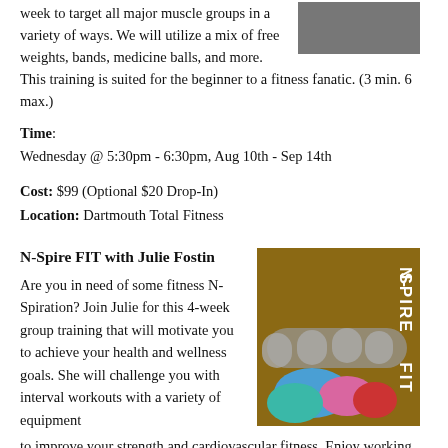week to target all major muscle groups in a variety of ways. We will utilize a mix of free weights, bands, medicine balls, and more. This training is suited for the beginner to a fitness fanatic. (3 min. 6 max.)
[Figure (photo): Photo of a fitness training session]
Time: Wednesday @ 5:30pm - 6:30pm, Aug 10th - Sep 14th
Cost: $99 (Optional $20 Drop-In)
Location: Dartmouth Total Fitness
N-Spire FIT with Julie Fostin
[Figure (photo): Photo of colorful kettlebells with N-SPIRE FIT text overlay]
Are you in need of some fitness N-Spiration? Join Julie for this 4-week group training that will motivate you to achieve your health and wellness goals. She will challenge you with interval workouts with a variety of equipment to improve your strength and cardiovascular fitness. Enjoy working out with fellow participants to push you to the next level of fitness. The program will include a: fitness assessment, weigh-in at the beginning and end